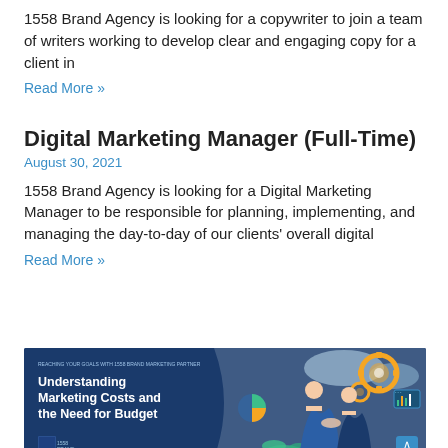1558 Brand Agency is looking for a copywriter to join a team of writers working to develop clear and engaging copy for a client in
Read More »
Digital Marketing Manager (Full-Time)
August 30, 2021
1558 Brand Agency is looking for a Digital Marketing Manager to be responsible for planning, implementing, and managing the day-to-day of our clients' overall digital
Read More »
[Figure (illustration): Promotional banner for '1558 Brand Agency' with dark blue background. Left side shows bold white text: 'Understanding Marketing Costs and the Need for Budget' with small agency logo at bottom left. Right side shows colorful illustration of two business people shaking hands with gear, plant and chart graphics around them.]